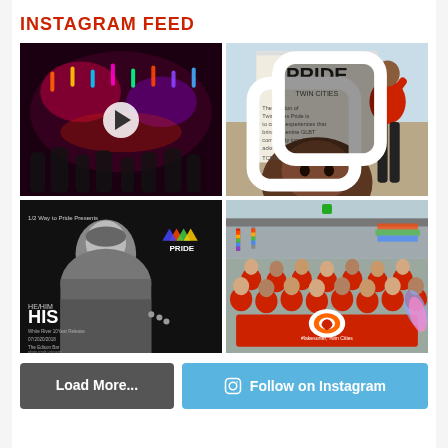INSTAGRAM FEED
[Figure (photo): Dark nightclub scene with colorful lights and crowd, play button overlay indicating video]
[Figure (photo): Person smiling in front of a Twin Cities Pride banner/sign outdoors, multi-image icon]
[Figure (photo): Black and white portrait of a person in profile, with text HE/HIM HIS and Pride logo - promo graphic]
[Figure (photo): Group of people in red shirts holding a banner at a Pride parade, Twin Cities, green location dot]
Load More...
Follow on Instagram